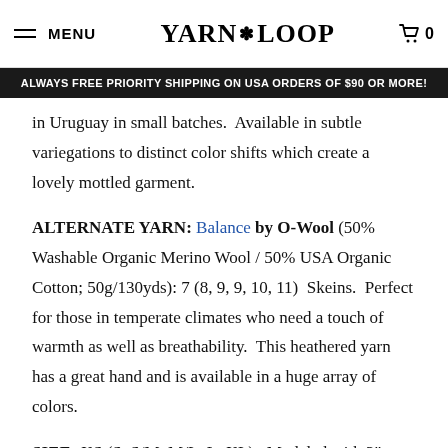MENU | YARN LOOP | 0
ALWAYS FREE PRIORITY SHIPPING ON USA ORDERS OF $90 OR MORE!
in Uruguay in small batches. Available in subtle variegations to distinct color shifts which create a lovely mottled garment.
ALTERNATE YARN: Balance by O-Wool (50% Washable Organic Merino Wool / 50% USA Organic Cotton; 50g/130yds): 7 (8, 9, 9, 10, 11) Skeins. Perfect for those in temperate climates who need a touch of warmth as well as breathability. This heathered yarn has a great hand and is available in a huge array of colors.
SIZE: XS (S, S/M, M/L, L, XL). Modeled with 2" positive ease at bust.